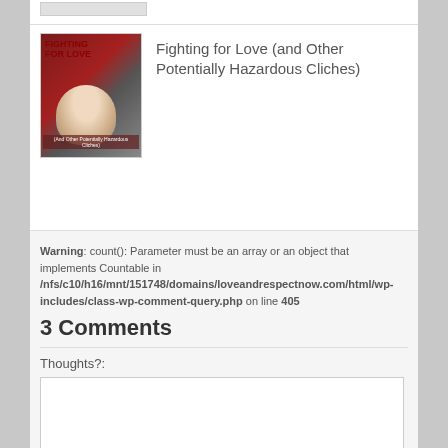[Figure (illustration): Small book cover thumbnail at top, partially visible]
[Figure (illustration): Book cover for 'Fighting for Love (and Other Potentially Hazardous Cliches)' showing a woman and bold red title text]
Fighting for Love (and Other Potentially Hazardous Cliches)
Warning: count(): Parameter must be an array or an object that implements Countable in /nfs/c10/h16/mnt/151748/domains/loveandrespectnow.com/html/wp-includes/class-wp-comment-query.php on line 405
3 Comments
Thoughts?:
[Figure (other): Empty textarea input box for comments]